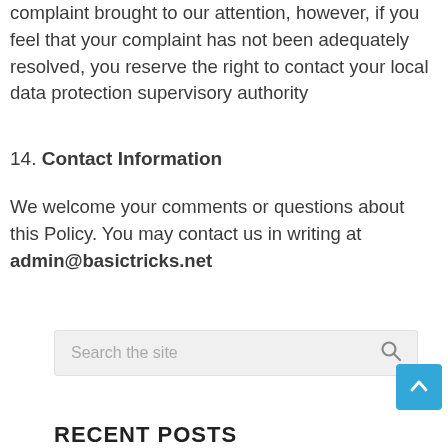complaint brought to our attention, however, if you feel that your complaint has not been adequately resolved, you reserve the right to contact your local data protection supervisory authority
14. Contact Information
We welcome your comments or questions about this Policy. You may contact us in writing at admin@basictricks.net
Search the site
RECENT POSTS